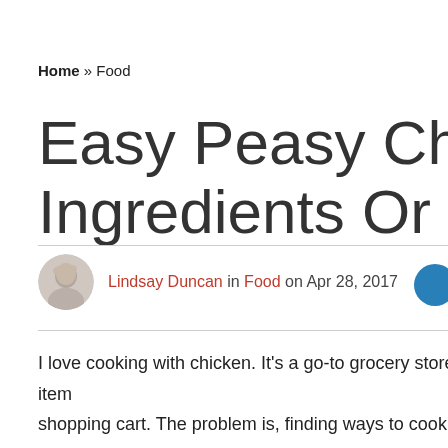Home » Food
Easy Peasy Chic… Ingredients Or L…
Lindsay Duncan in Food on Apr 28, 2017
I love cooking with chicken. It's a go-to grocery store item… shopping cart. The problem is, finding ways to cook with… bunch of ingredients I'll only use once. I prefer recipes t…